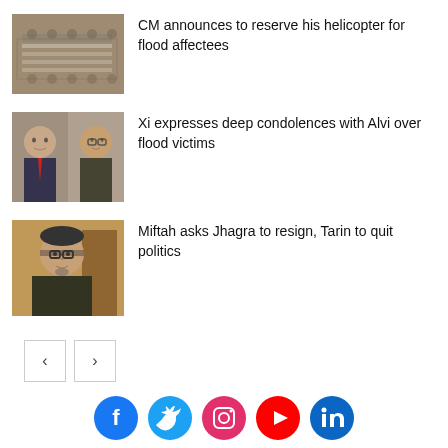CM announces to reserve his helicopter for flood affectees
Xi expresses deep condolences with Alvi over flood victims
Miftah asks Jhagra to resign, Tarin to quit politics